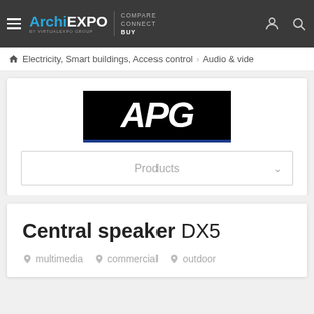ArchiEXPO by VirtualExpo Group | COMPARE CONNECT BUY
Electricity, Smart buildings, Access control > Audio & vide
[Figure (logo): APG logo — white italic bold text on black background with dark blue bottom stripe]
Products
Central speaker DX5
multimedia
commercial
outdoor